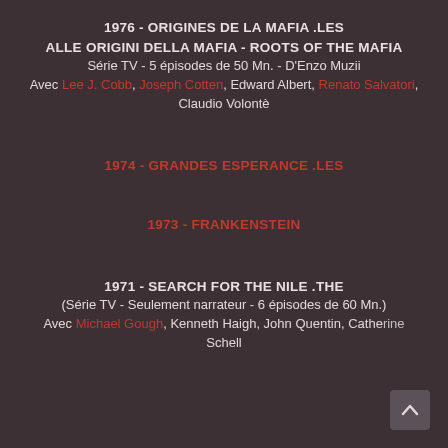1976 - ORIGINES DE LA MAFIA .LES
ALLE ORIGINI DELLA MAFIA - ROOTS OF THE MAFIA
Série TV - 5 épisodes de 50 Mn. - D'Enzo Muzii
Avec Lee J. Cobb, Joseph Cotten, Edward Albert, Renato Salvatori, Claudio Volontè
1974 - GRANDES ESPERANCE .LES
1973 - FRANKENSTEIN
1971 - SEARCH FOR THE NILE .THE
(Série TV - Seulement narrateur - 6 épisodes de 60 Mn.)
Avec Michael Gough, Kenneth Haigh, John Quentin, Catherine Schell
[Figure (other): Scroll-up navigation button (chevron/arrow icon on dark rounded square background)]